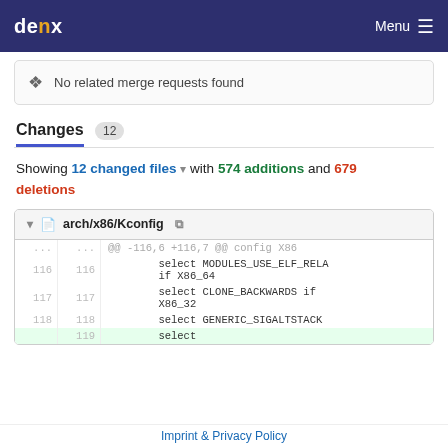denx Menu
No related merge requests found
Changes 12
Showing 12 changed files with 574 additions and 679 deletions
| old line | new line | code |
| --- | --- | --- |
| ... | ... | @@ -116,6 +116,7 @@ config X86 |
| 116 | 116 |         select MODULES_USE_ELF_RELA if X86_64 |
| 117 | 117 |         select CLONE_BACKWARDS if X86_32 |
| 118 | 118 |         select GENERIC_SIGALTSTACK |
|  | 119 |         select |
Imprint & Privacy Policy